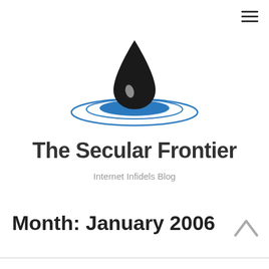[Figure (logo): Water drop logo with blue ripple waves beneath it, representing The Secular Frontier blog]
The Secular Frontier
Internet Infidels Blog
Month: January 2006